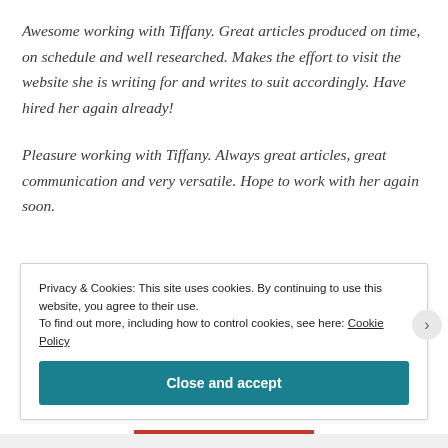Awesome working with Tiffany. Great articles produced on time, on schedule and well researched. Makes the effort to visit the website she is writing for and writes to suit accordingly. Have hired her again already!
Pleasure working with Tiffany. Always great articles, great communication and very versatile. Hope to work with her again soon.
Privacy & Cookies: This site uses cookies. By continuing to use this website, you agree to their use. To find out more, including how to control cookies, see here: Cookie Policy
Close and accept